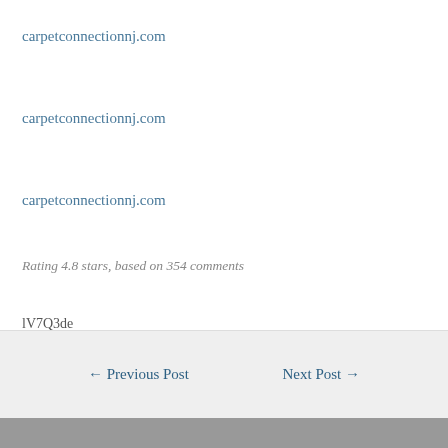carpetconnectionnj.com
carpetconnectionnj.com
carpetconnectionnj.com
Rating 4.8 stars, based on 354 comments
lV7Q3de
← Previous Post   Next Post →